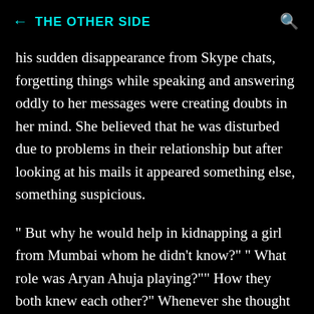THE OTHER SIDE
his sudden disappearance from Skype chats, forgetting things while speaking and answering oddly to her messages were creating doubts in her mind. She believed that he was disturbed due to problems in their relationship but after looking at his mails it appeared something else, something suspicious.
" But why he would help in kidnapping a girl from Mumbai whom he didn't know?" " What role was Aryan Ahuja playing?"" How they both knew each other?" Whenever she thought in that way it